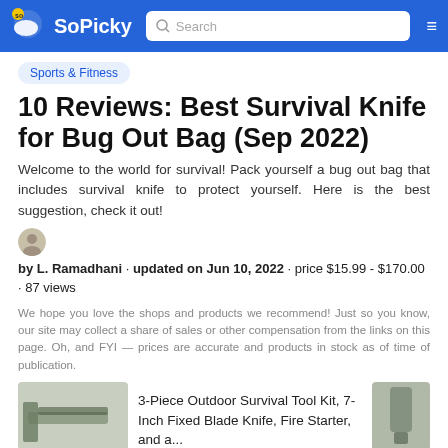SoPicky | Search
Sports & Fitness
10 Reviews: Best Survival Knife for Bug Out Bag (Sep 2022)
Welcome to the world for survival! Pack yourself a bug out bag that includes survival knife to protect yourself. Here is the best suggestion, check it out!
by L. Ramadhani · updated on Jun 10, 2022 · price $15.99 - $170.00 · 87 views
We hope you love the shops and products we recommend! Just so you know, our site may collect a share of sales or other compensation from the links on this page. Oh, and FYI — prices are accurate and products in stock as of time of publication.
3-Piece Outdoor Survival Tool Kit, 7-Inch Fixed Blade Knife, Fire Starter, and a...